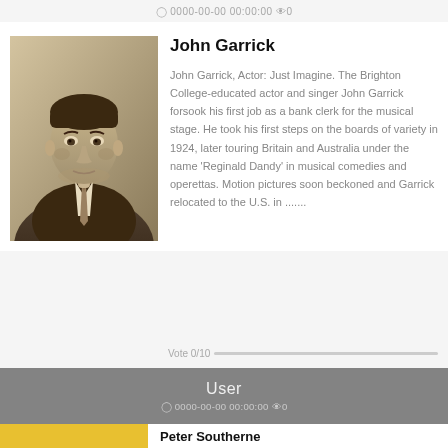0000-00-00 00:00:00  0
[Figure (photo): Black and white / sepia portrait photo of John Garrick, a man in a suit and tie, looking slightly to the side.]
John Garrick
John Garrick, Actor: Just Imagine. The Brighton College-educated actor and singer John Garrick forsook his first job as a bank clerk for the musical stage. He took his first steps on the boards of variety in 1924, later touring Britain and Australia under the name 'Reginald Dandy' in musical comedies and operettas. Motion pictures soon beckoned and Garrick relocated to the U.S. in .......
Vote 0/10
User
0000-00-00 00:00:00  0
Peter Southerne